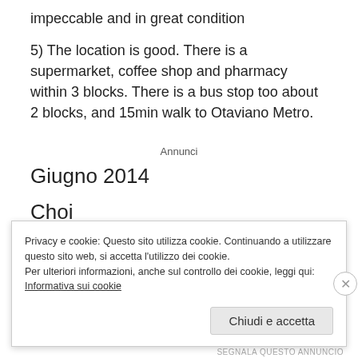impeccable and in great condition
5) The location is good. There is a supermarket, coffee shop and pharmacy within 3 blocks. There is a bus stop too about 2 blocks, and 15min walk to Otaviano Metro.
Annunci
Giugno 2014
Choi
Chic and cozy apartment! We can feel the careful
Privacy e cookie: Questo sito utilizza cookie. Continuando a utilizzare questo sito web, si accetta l'utilizzo dei cookie.
Per ulteriori informazioni, anche sul controllo dei cookie, leggi qui:
Informativa sui cookie